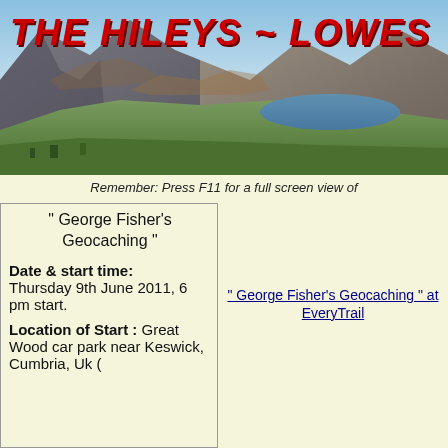[Figure (photo): Panoramic landscape banner showing mountains, lake, and valleys with THE HILEYS ~ LOWES text overlay in red italic bold font]
Remember: Press F11 for a full screen view of
" George Fisher's Geocaching "
Date & start time: Thursday 9th June 2011, 6 pm start.
Location of Start : Great Wood car park near Keswick, Cumbria, Uk (
" George Fisher's Geocaching " at EveryTrail